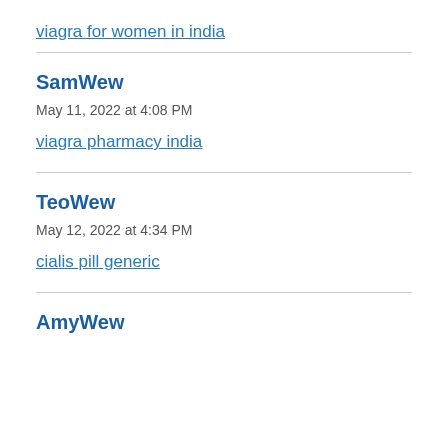viagra for women in india
SamWew
May 11, 2022 at 4:08 PM
viagra pharmacy india
TeoWew
May 12, 2022 at 4:34 PM
cialis pill generic
AmyWew